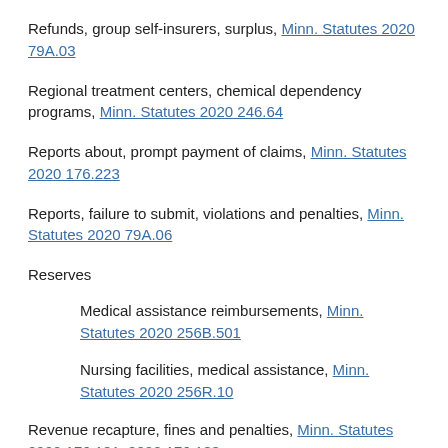Refunds, group self-insurers, surplus, Minn. Statutes 2020 79A.03
Regional treatment centers, chemical dependency programs, Minn. Statutes 2020 246.64
Reports about, prompt payment of claims, Minn. Statutes 2020 176.223
Reports, failure to submit, violations and penalties, Minn. Statutes 2020 79A.06
Reserves
Medical assistance reimbursements, Minn. Statutes 2020 256B.501
Nursing facilities, medical assistance, Minn. Statutes 2020 256R.10
Revenue recapture, fines and penalties, Minn. Statutes 2020 176.181, 2020 176.183